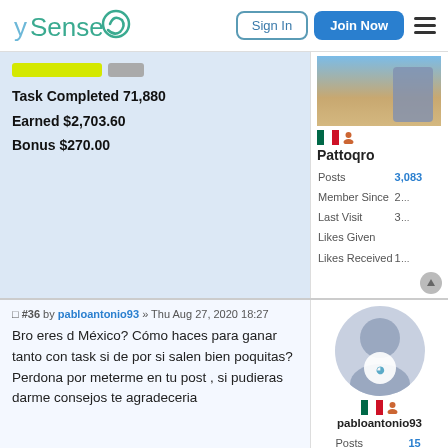ySense | Sign In | Join Now
Task Completed 71,880
Earned $2,703.60
Bonus $270.00
Pattoqro
Posts 3,083
Member Since
Last Visit
Likes Given
Likes Received
#36 by pabloantonio93 » Thu Aug 27, 2020 18:27
Bro eres d México? Cómo haces para ganar tanto con task si de por si salen bien poquitas? Perdona por meterme en tu post , si pudieras darme consejos te agradeceria
pabloantonio93
Posts 15
Member Since
Last Visit